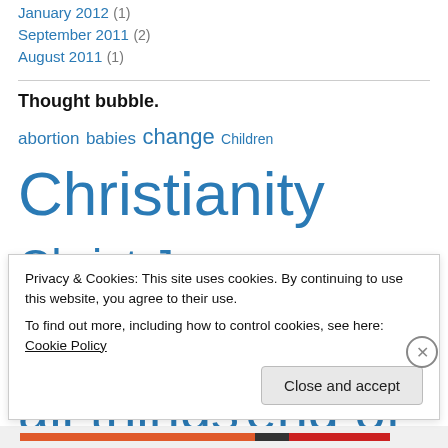January 2012 (1)
September 2011 (2)
August 2011 (1)
Thought bubble.
abortion babies change Children Christianity Christ Jesus Damascus Dreams Dumitru Duduman end of all things end of the world end times Exodus faith Holiness hope
Privacy & Cookies: This site uses cookies. By continuing to use this website, you agree to their use. To find out more, including how to control cookies, see here: Cookie Policy
Close and accept